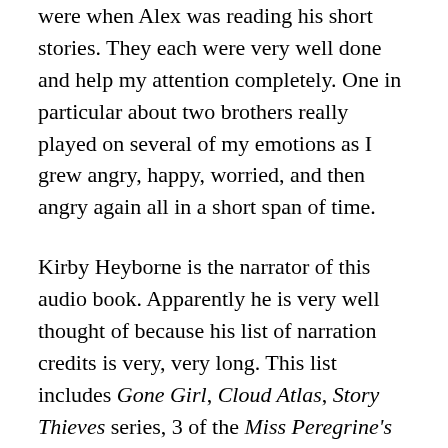were when Alex was reading his short stories. They each were very well done and help my attention completely. One in particular about two brothers really played on several of my emotions as I grew angry, happy, worried, and then angry again all in a short span of time.
Kirby Heyborne is the narrator of this audio book. Apparently he is very well thought of because his list of narration credits is very, very long. This list includes Gone Girl, Cloud Atlas, Story Thieves series, 3 of the Miss Peregrine's Peculiar Children books, etc. Being trapped in an apartment doesn't allow for too many characters in the story so his strength in Nightbooks doesn't necessarily rely on the voice portrayals. Instead it is how he plays out the creep factor along with